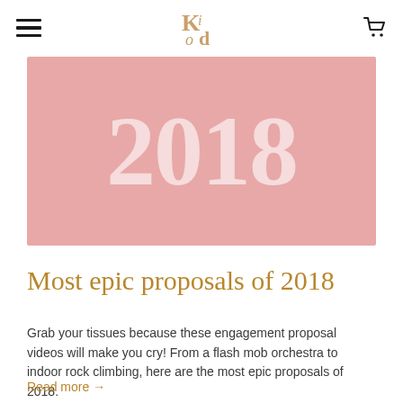KI od [logo] [hamburger menu] [cart icon]
[Figure (illustration): Pink/rose colored banner image with large white bold text '2018' centered, blurred slightly]
Most epic proposals of 2018
Grab your tissues because these engagement proposal videos will make you cry! From a flash mob orchestra to indoor rock climbing, here are the most epic proposals of 2018.
Read more →